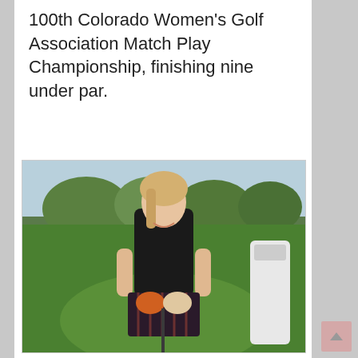100th Colorado Women's Golf Association Match Play Championship, finishing nine under par.
[Figure (photo): A smiling blonde woman in a black top and plaid skirt holding a golf club on a golf course, with a golf bag visible in the background.]